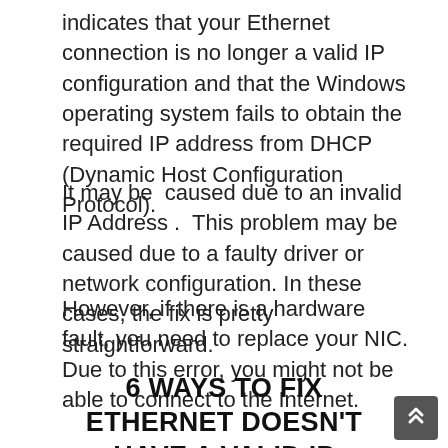indicates that your Ethernet connection is no longer a valid IP configuration and that the Windows operating system fails to obtain the required IP address from DHCP (Dynamic Host Configuration Protocol).
It may be  caused due to an invalid IP Address .  This problem may be caused due to a faulty driver or network configuration. In these cases, the fix is pretty straightforward.
However, if there is a hardware fault, you need to replace your NIC. Due to this error, you might not be able to connect to the Internet.
6 WAYS TO FIX ETHERNET DOESN'T HAVE A VALID IP CONFIGURATION